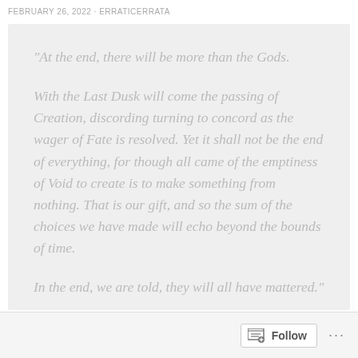FEBRUARY 26, 2022 / ERRATICERRATA
“At the end, there will be more than the Gods.

With the Last Dusk will come the passing of Creation, discording turning to concord as the wager of Fate is resolved. Yet it shall not be the end of everything, for though all came of the emptiness of Void to create is to make something from nothing. That is our gift, and so the sum of the choices we have made will echo beyond the bounds of time.

In the end, we are told, they will all have mattered.”
Follow ...